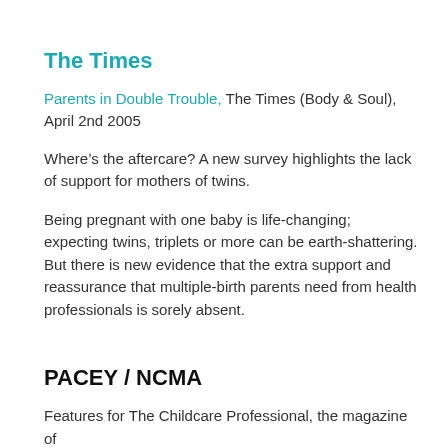The Times
Parents in Double Trouble, The Times (Body & Soul), April 2nd 2005
Where’s the aftercare? A new survey highlights the lack of support for mothers of twins.
Being pregnant with one baby is life-changing; expecting twins, triplets or more can be earth-shattering. But there is new evidence that the extra support and reassurance that multiple-birth parents need from health professionals is sorely absent.
PACEY / NCMA
Features for The Childcare Professional, the magazine of